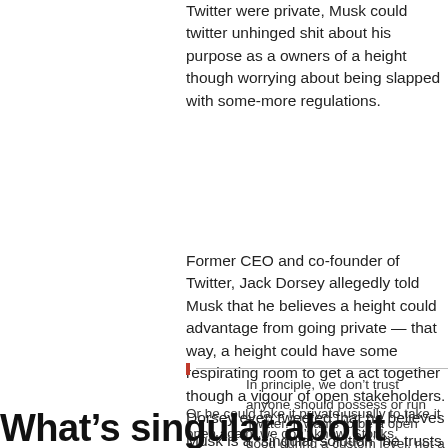Twitter were private, Musk could twitter unhinged shit about his purpose as a owners of a height though worrying about being slapped with some-more regulations.
Former CEO and co-founder of Twitter, Jack Dorsey allegedly told Musk that he believes a height could advantage from going private — that way, a height could have some respirating room to get a act together though a vigour of open stakeholders. Dorsey even tweeted that he believes Musk is a “singular solution” he trusts to work a association he co-founded.
In principle, we don’t trust anyone should possess or run Twitter. It wants to be a open good during a custom level, not a company. Solving for a
Or he could take it private usually to take it open again. we don’t know. Stonks.
What’s singular about